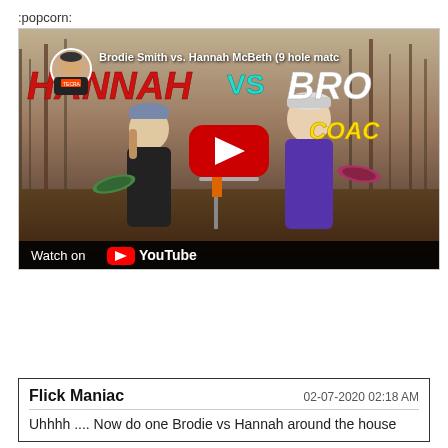:popcorn:
[Figure (screenshot): YouTube video thumbnail showing 'Brodie Smith vs. Hannah McBeth (9 hole match)' disc golf video. Two players stand next to a disc golf basket holding discs. Text overlay shows 'HANNAH vs BRO' and 'COACH'. Red YouTube play button in center. 'Watch on YouTube' bar at bottom.]
Flick Maniac
02-07-2020 02:18 AM
Uhhhh .... Now do one Brodie vs Hannah around the house